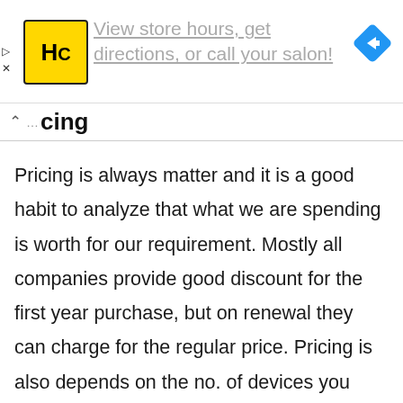[Figure (logo): Advertisement banner with HC logo (Hair Club), navigation icon, and text 'View store hours, get directions, or call your salon!']
Pricing
Pricing is always matter and it is a good habit to analyze that what we are spending is worth for our requirement. Mostly all companies provide good discount for the first year purchase, but on renewal they can charge for the regular price. Pricing is also depends on the no. of devices you own. So look wisely for the best deal as per your requirement. Check out the Antivirus Coupons for